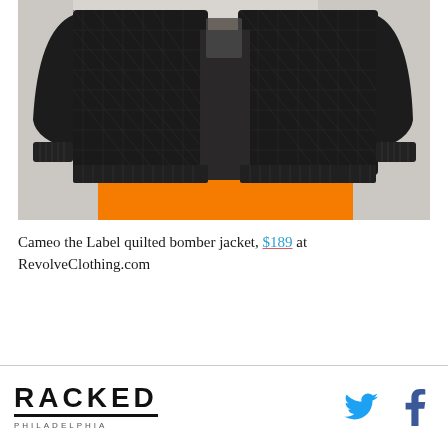[Figure (photo): A model wearing a black quilted bomber jacket open over an orange skirt, shown from the torso down, on a light grey background.]
Cameo the Label quilted bomber jacket, $189 at RevolveClothing.com
RACKED PHILADELPHIA